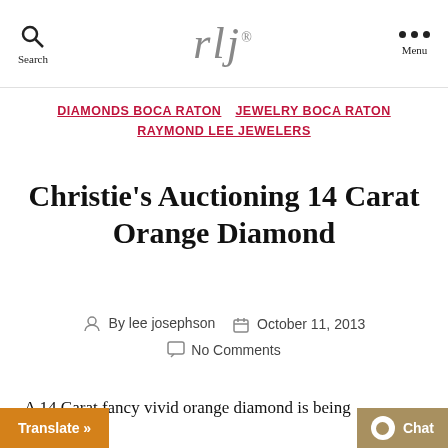Search | rlj® | Menu
DIAMONDS BOCA RATON  JEWELRY BOCA RATON  RAYMOND LEE JEWELERS
Christie's Auctioning 14 Carat Orange Diamond
By lee josephson  October 11, 2013  No Comments
A 14 Carat fancy vivid orange diamond is being ... by Christie's. It is the world's l...